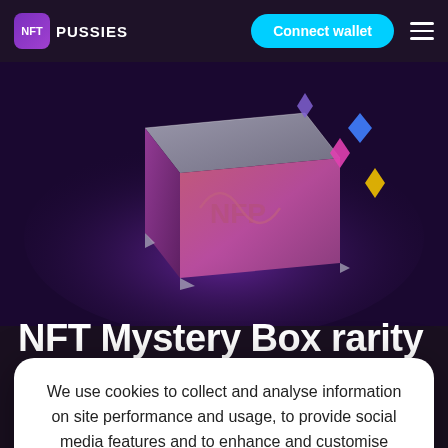NFT PUSSIES — Connect wallet
[Figure (illustration): 3D mystery box illustration with colorful diamond shapes floating around it, on a dark purple background with 'NFT PUSSIES' branding]
NFT Mystery Box rarity
We use cookies to collect and analyse information on site performance and usage, to provide social media features and to enhance and customise content and advertisements.
Deny cookies   Allow cookies
favourite Pussie.